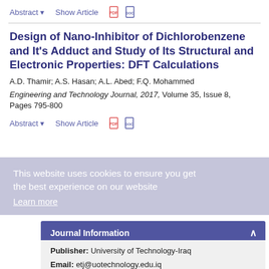Abstract  Show Article
Design of Nano-Inhibitor of Dichlorobenzene and It's Adduct and Study of Its Structural and Electronic Properties: DFT Calculations
A.D. Thamir; A.S. Hasan; A.L. Abed; F.Q. Mohammed
Engineering and Technology Journal, 2017, Volume 35, Issue 8, Pages 795-800
Abstract  Show Article
This website uses cookies to ensure you get the best experience on our website Learn more
Journal Information
Publisher: University of Technology-Iraq
Email: etj@uotechnology.edu.iq